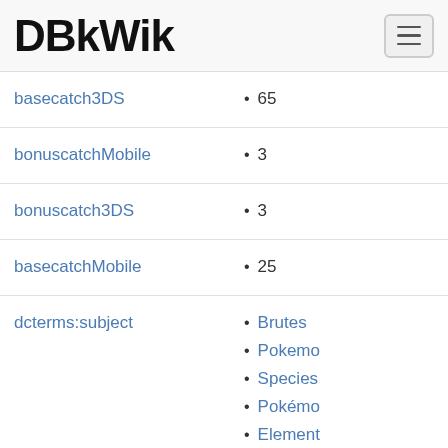DBkWik
basecatch3DS • 65
bonuscatchMobile • 3
bonuscatch3DS • 3
basecatchMobile • 25
dcterms:subject • Brutes, Pokemon, Species, Pokémo, Element, Pokémo, Pokemon, Status c, Pokémo line, Kanto P